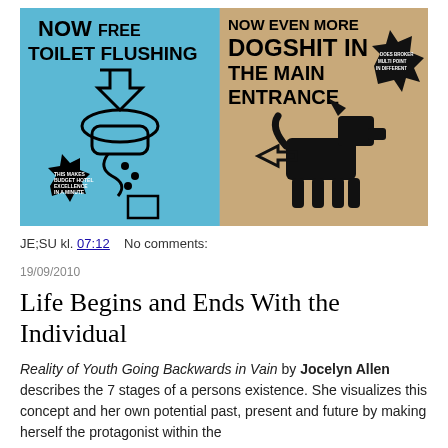[Figure (illustration): Two side-by-side humorous signs: left panel is blue with text 'NOW FREE TOILET FLUSHING' with a toilet graphic and small badge text; right panel is tan/beige with text 'NOW EVEN MORE DOGSHIT IN THE MAIN ENTRANCE' with a dog graphic and starburst badge.]
JE;SU kl. 07:12    No comments:
19/09/2010
Life Begins and Ends With the Individual
Reality of Youth Going Backwards in Vain by Jocelyn Allen describes the 7 stages of a persons existence. She visualizes this concept and her own potential past, present and future by making herself the protagonist within the